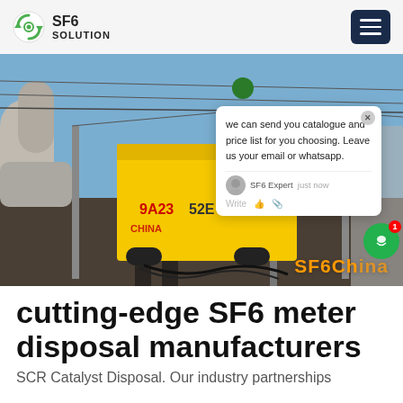[Figure (logo): SF6 Solution logo with circular green recycling arrow icon]
[Figure (photo): Yellow industrial truck/vehicle at an electrical substation with overhead power lines and pipes. Chat popup overlay visible.]
cutting-edge SF6 meter disposal manufacturers
SCR Catalyst Disposal. Our industry partnerships